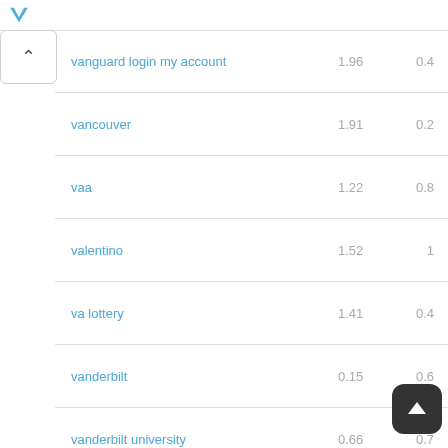| keyword | val1 | val2 |
| --- | --- | --- |
| vanguard login my account | 1.96 | 0.4 |
| vancouver | 1.91 | 0.2 |
| vaa | 1.22 | 0.8 |
| valentino | 1.52 | 1 |
| va lottery | 1.41 | 0.4 |
| vanderbilt | 0.15 | 0.6 |
| vanderbilt university | 0.66 | 0.7 |
| vanguard.com | 0.62 |  |
| vanguard funds | 0.22 | 0.4 |